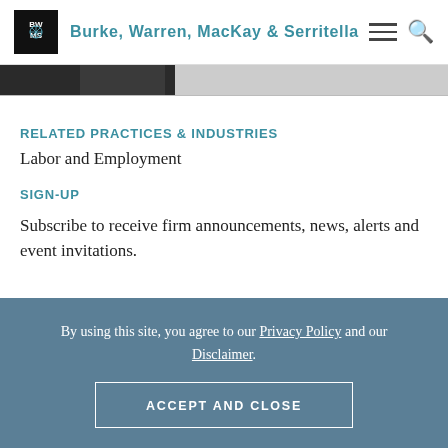Burke, Warren, MacKay & Serritella
[Figure (screenshot): Partially cropped image at top of page, showing dark background with partial figure]
RELATED PRACTICES & INDUSTRIES
Labor and Employment
SIGN-UP
Subscribe to receive firm announcements, news, alerts and event invitations.
By using this site, you agree to our Privacy Policy and our Disclaimer.
ACCEPT AND CLOSE